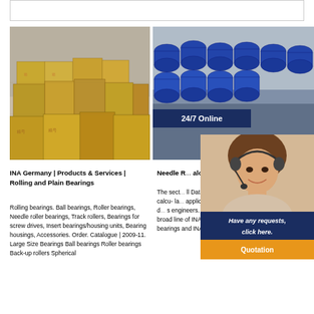[Figure (photo): Warehouse with stacked cardboard boxes]
[Figure (photo): Warehouse with stacked blue cylindrical bearing rolls]
[Figure (photo): Customer service representative with headset, with '24/7 Online' banner, 'Have any requests, click here.' box, and 'Quotation' button]
INA Germany | Products & Services | Rolling and Plain Bearings
Rolling bearings. Ball bearings, Roller bearings, Needle roller bearings, Track rollers, Bearings for screw drives, Insert bearings/housing units, Bearing housings, Accessories. Order. Catalogue | 2009-11. Large Size Bearings Ball bearings Roller bearings Back-up rollers Spherical
Needle R... alog 352 - the...
The sect... ll Data" ad... question... and calcu- la... applicati... neering a... e through d... s engineers. For information on the broad line of INA metric nee- dle roller bearings and INA linear